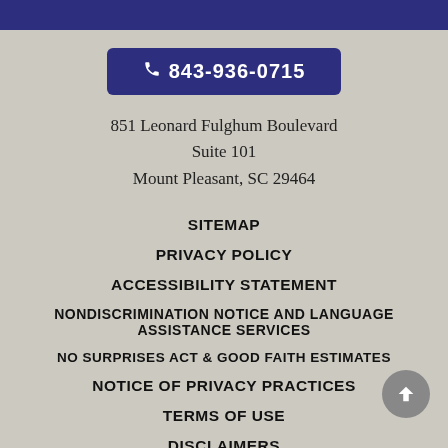843-936-0715
851 Leonard Fulghum Boulevard
Suite 101
Mount Pleasant, SC 29464
SITEMAP
PRIVACY POLICY
ACCESSIBILITY STATEMENT
NONDISCRIMINATION NOTICE AND LANGUAGE ASSISTANCE SERVICES
NO SURPRISES ACT & GOOD FAITH ESTIMATES
NOTICE OF PRIVACY PRACTICES
TERMS OF USE
DISCLAIMERS